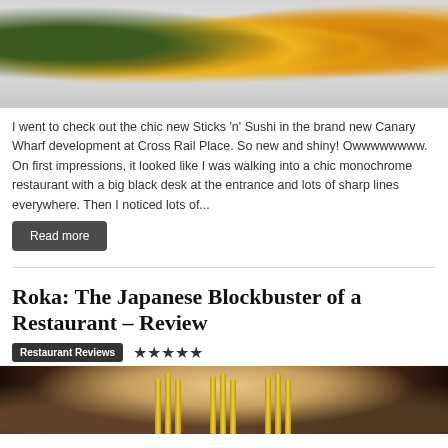[Figure (photo): Close-up photo of Japanese food dish — golden fried sushi balls with orange garnish and green leaves on a light plate]
I went to check out the chic new Sticks 'n' Sushi in the brand new Canary Wharf development at Cross Rail Place. So new and shiny! Owwwwwwww. On first impressions, it looked like I was walking into a chic monochrome restaurant with a big black desk at the entrance and lots of sharp lines everywhere. Then I noticed lots of...
Read more
Roka: The Japanese Blockbuster of a Restaurant – Review
Restaurant Reviews ★★★★★
[Figure (photo): Interior photo of Japanese restaurant Roka — warm amber lighting with golden pillar decorations and restaurant seating area]